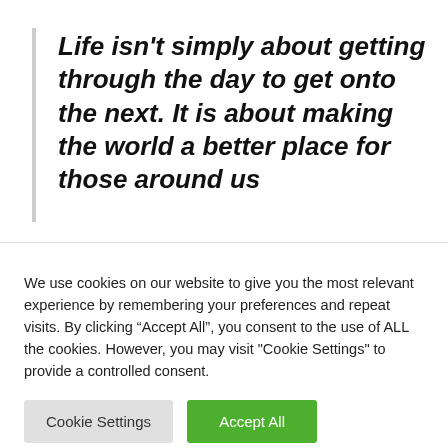Life isn't simply about getting through the day to get onto the next. It is about making the world a better place for those around us
We use cookies on our website to give you the most relevant experience by remembering your preferences and repeat visits. By clicking “Accept All”, you consent to the use of ALL the cookies. However, you may visit "Cookie Settings" to provide a controlled consent.